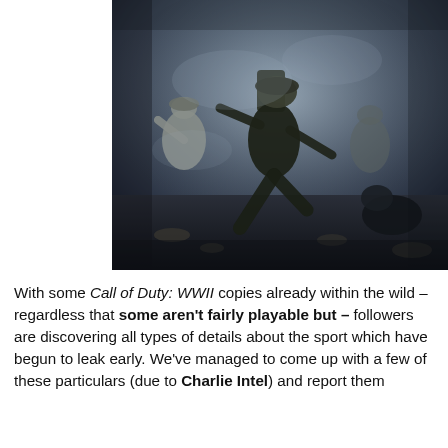[Figure (photo): A dark, cinematic screenshot from Call of Duty: WWII showing soldiers in combat. A soldier with a backpack and helmet lunges forward aggressively in a war-torn, smoky environment with rubble on the ground. Other soldiers are visible in the background and foreground.]
With some Call of Duty: WWII copies already within the wild – regardless that some aren't fairly playable but – followers are discovering all types of details about the sport which have begun to leak early. We've managed to come up with a few of these particulars (due to Charlie Intel) and report them